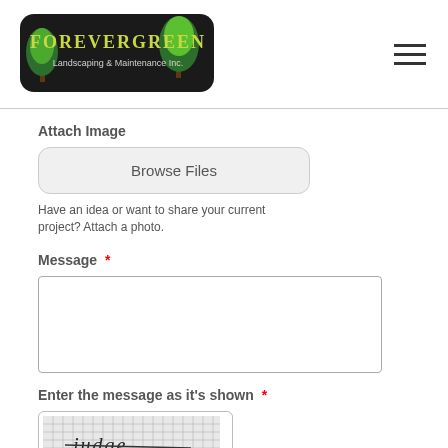[Figure (logo): ForeverGreen Landscaping & Maintenance Inc. logo with green trees on dark background]
Attach Image
[Figure (screenshot): Browse Files button UI element]
Have an idea or want to share your current project? Attach a photo.
Message *
[Figure (screenshot): Empty message textarea input field]
Enter the message as it's shown *
[Figure (screenshot): CAPTCHA image showing the word 'judge' with strikethrough styling on a grid background]